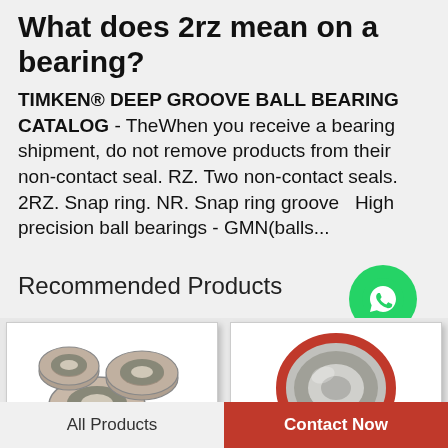What does 2rz mean on a bearing?
TIMKEN® DEEP GROOVE BALL BEARING CATALOG - TheWhen you receive a bearing shipment, do not remove products from their non-contact seal. RZ. Two non-contact seals. 2RZ. Snap ring. NR. Snap ring groove  High precision ball bearings - GMN(balls...
Recommended Products
[Figure (photo): WhatsApp Online icon - green circle with phone handset symbol, with text 'WhatsApp Online' below]
[Figure (photo): Photo of multiple angular contact ball bearings (small metallic rings) arranged together]
[Figure (photo): Photo of a single deep groove ball bearing with red seal]
All Products
Contact Now